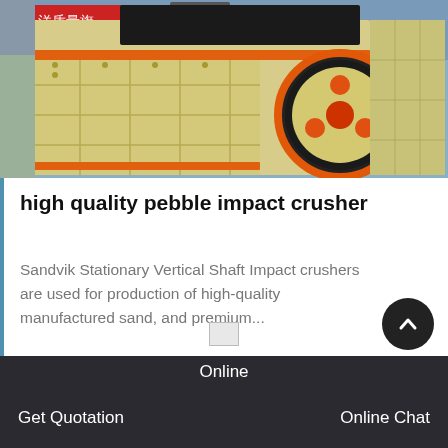[Figure (photo): Industrial impact crusher machine with cream/yellow body and large black and orange flywheel, displayed at what appears to be a trade show with Chinese signage in the background.]
high quality pebble impact crusher
Sandvik Stationary Vertical Shaft Impact crushers are used for production of high-quality manufactured sand, and premium...
VIEW MORE
Online  Get Quotation  Online Chat